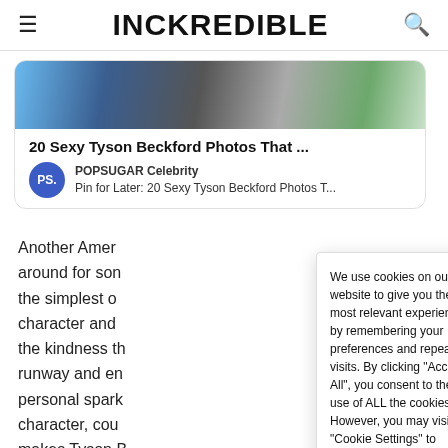INCKREDIBLE
[Figure (screenshot): Article card showing a partial image of Tyson Beckford with headline '20 Sexy Tyson Beckford Photos That ...' and POPSUGAR Celebrity source logo with text 'Pin for Later: 20 Sexy Tyson Beckford Photos T...']
Another Amer around for son the simplest o character and  the kindness th runway and en personal spark character, cou makes Tyson B
We use cookies on our website to give you the most relevant experience by remembering your preferences and repeat visits. By clicking "Accept All", you consent to the use of ALL the cookies. However, you may visit "Cookie Settings" to provide a controlled consent.
Cookie Settings   Accept All